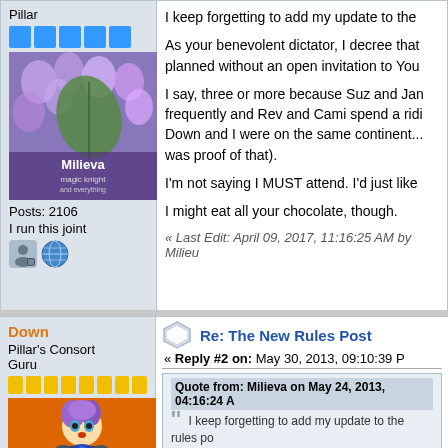Pillar
[Figure (illustration): Five blue rank squares]
[Figure (photo): Avatar image with purple flowers and green leaf with text Milieva magic knight]
Posts: 2106
I run this joint
[Figure (illustration): User profile and globe icons]
I keep forgetting to add my update to the
As your benevolent dictator, I decree that planned without an open invitation to You
I say, three or more because Suz and Jan frequently and Rev and Cami spend a ridi Down and I were on the same continent... was proof of that).
I'm not saying I MUST attend. I'd just like
I might eat all your chocolate, though.
« Last Edit: April 09, 2017, 11:16:25 AM by Milieu
Down
Pillar's Consort
Guru
[Figure (illustration): Eight yellow rank squares]
[Figure (illustration): Anime character avatar with purple hair and blue eyes on orange background]
Re: The New Rules Post
« Reply #2 on: May 30, 2013, 09:10:39 P
Quote from: Milieva on May 24, 2013, 04:16:24 A
I keep forgetting to add my update to the rules po
As your benevolent dictator, I decree that now Co an open invitiation to yours truely.
...
I?m not saying I MUST attend. I?d just like to be